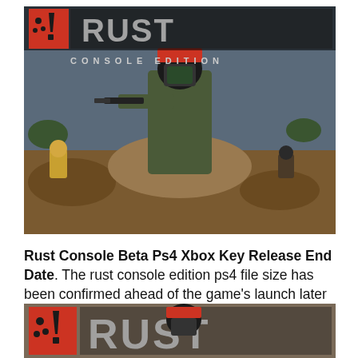[Figure (screenshot): Rust Console Edition promotional image showing game characters in a desert/arid environment with the 'RUST CONSOLE EDITION' logo text overlaid at the top]
Rust Console Beta Ps4 Xbox Key Release End Date. The rust console edition ps4 file size has been confirmed ahead of the game's launch later this week. When is the rust console edition beta end date?
[Figure (screenshot): Rust Console Edition logo image — partial view showing the red exclamation icon and grey RUST lettering with a character wearing a gas mask]